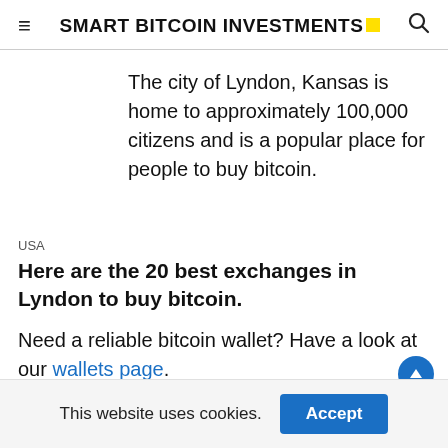SMART BITCOIN INVESTMENTS
The city of Lyndon, Kansas is home to approximately 100,000 citizens and is a popular place for people to buy bitcoin.
USA
Here are the 20 best exchanges in Lyndon to buy bitcoin.
Need a reliable bitcoin wallet? Have a look at our wallets page.
This website uses cookies.